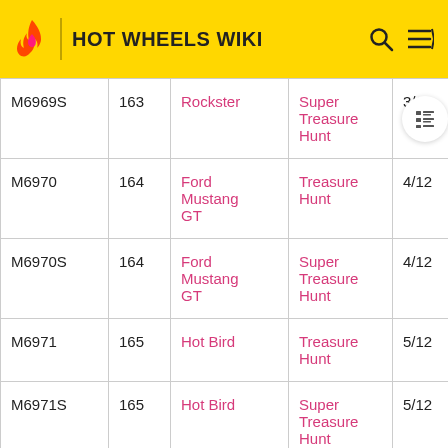HOT WHEELS WIKI
| Item # | # | Name | Series | Col # |
| --- | --- | --- | --- | --- |
| M6969S | 163 | Rockster | Super Treasure Hunt | 3/12 |
| M6970 | 164 | Ford Mustang GT | Treasure Hunt | 4/12 |
| M6970S | 164 | Ford Mustang GT | Super Treasure Hunt | 4/12 |
| M6971 | 165 | Hot Bird | Treasure Hunt | 5/12 |
| M6971S | 165 | Hot Bird | Super Treasure Hunt | 5/12 |